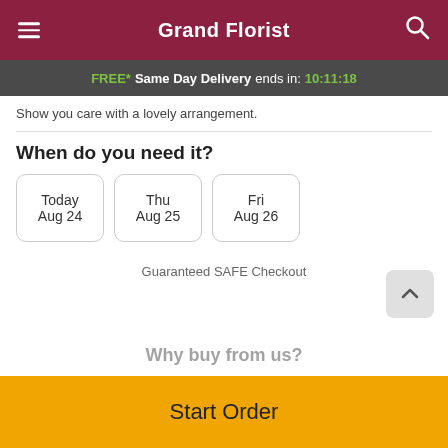Grand Florist
FREE* Same Day Delivery ends in: 10:11:18
Show you care with a lovely arrangement.
When do you need it?
Today Aug 24
Thu Aug 25
Fri Aug 26
Guaranteed SAFE Checkout
Why buy from us?
Start Order